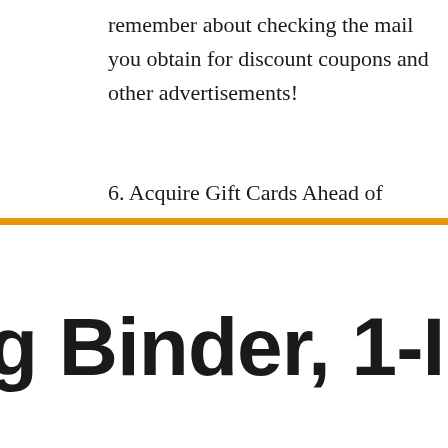remember about checking the mail you obtain for discount coupons and other advertisements!
6. Acquire Gift Cards Ahead of
g Binder, 1-Inch -